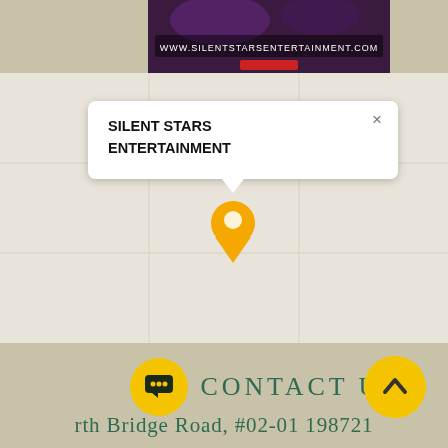[Figure (screenshot): Top banner showing a dark/purple stage/entertainment scene with text 'www.silentstarsentertainment.com' overlaid]
[Figure (map): Google Maps-style map in light beige/tan color showing a location pin with a popup tooltip reading 'SILENT STARS ENTERTAINMENT' with a close (x) button. An orange/yellow map pin marker is visible below the tooltip.]
SILENT STARS ENTERTAINMENT
CONTACT US
rth Bridge Road, #02-01 198721